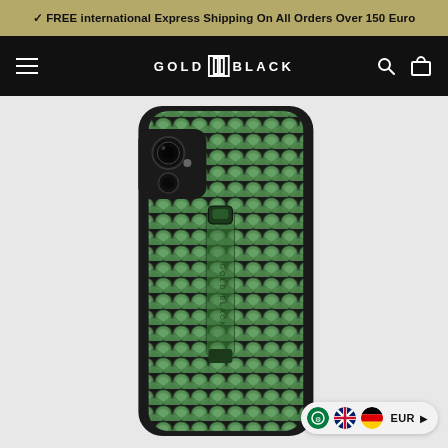✓ FREE international Express Shipping On All Orders Over 150 Euro
[Figure (logo): GOLD BLACK brand logo in white text on black navigation bar, with hamburger menu, search icon, and cart icon]
[Figure (photo): Green python/snake leather iPhone XS Max case with finger strap/ring holder, shown on light gray background. The case has a black frame with green exotic leather back and a vertical strap with GOLD BLACK branding embossed on it.]
EUR ▶